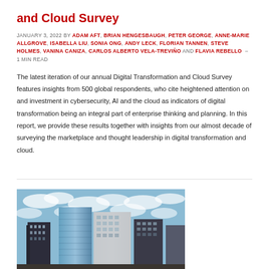and Cloud Survey
JANUARY 3, 2022 by ADAM AFT, BRIAN HENGESBAUGH, PETER GEORGE, ANNE-MARIE ALLGROVE, ISABELLA LIU, SONIA ONG, ANDY LECK, FLORIAN TANNEN, STEVE HOLMES, VANINA CANIZA, CARLOS ALBERTO VELA-TREVIÑO AND FLAVIA REBELLO – 1 MIN READ
The latest iteration of our annual Digital Transformation and Cloud Survey features insights from 500 global respondents, who cite heightened attention on and investment in cybersecurity, AI and the cloud as indicators of digital transformation being an integral part of enterprise thinking and planning. In this report, we provide these results together with insights from our almost decade of surveying the marketplace and thought leadership in digital transformation and cloud.
[Figure (photo): Photograph of tall city skyscrapers against a partly cloudy blue sky, viewed from below looking upward.]